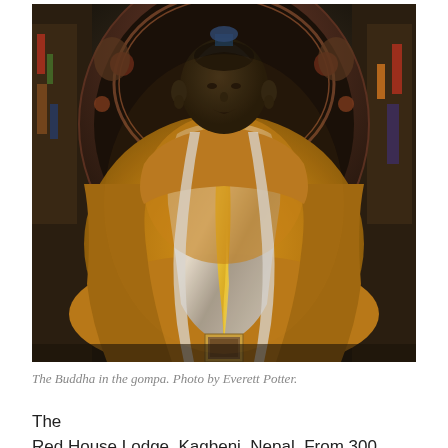[Figure (photo): A large bronze Buddha statue seated in meditation pose inside a gompa (Tibetan Buddhist monastery). The statue is draped in bright yellow and silver/grey ceremonial scarves (kata). Behind the Buddha is an ornate multi-colored decorative arch with religious figures and motifs. The interior walls are richly painted.]
The Buddha in the gompa. Photo by Everett Potter.
The Red House Lodge, Kagbeni, Nepal. From 300 Nepli rupees